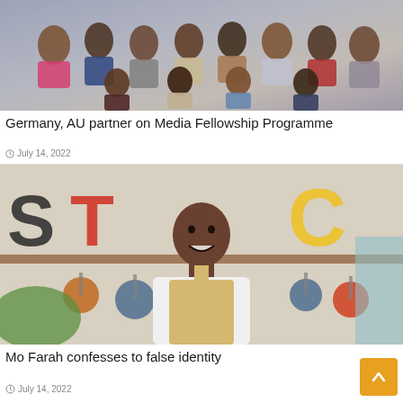[Figure (photo): Group photo of approximately 15 people posing together indoors, likely at a conference or professional event]
Germany, AU partner on Media Fellowship Programme
July 14, 2022
[Figure (photo): Man wearing a white shirt and beige apron standing in a kitchen/baking setting with colourful letters and hanging pots in the background]
Mo Farah confesses to false identity
July 14, 2022